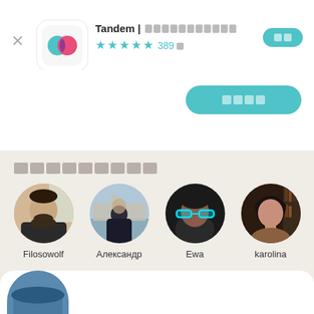[Figure (screenshot): App store listing for Tandem app showing app icon, title 'Tandem | 언어교환 파트너', star rating 4.5 stars with 389개 ratings, and install button]
Tandem | 언어교환 파트너 ★★★★½ 389개
[Figure (screenshot): Large teal install/download button]
인기있는 파트너
[Figure (photo): Four circular user profile photos: Filosowolf (man with beard), Александр (person in front of river/parliament building), Ewa (woman with teal glowing glasses), karolina (woman in dim light)]
Filosowolf
Александр
Ewa
karolina
[Figure (photo): Partial user profile card at bottom showing top of a person with a blue hat]